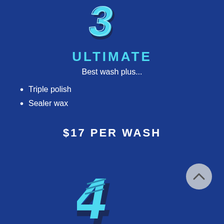[Figure (illustration): 3D stylized number '3' icon in cyan/blue with dark shadow, representing the Ultimate wash package tier]
ULTIMATE
Best wash plus...
Triple polish
Sealer wax
$17 PER WASH
[Figure (illustration): 3D stylized number '4' icon in cyan/blue with dark shadow, representing the next wash package tier]
Phone  Email  Address  Facebook